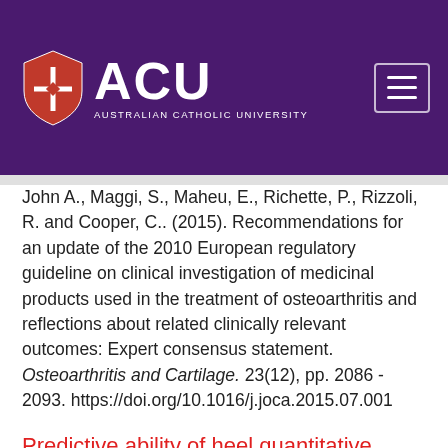[Figure (logo): Australian Catholic University (ACU) logo with shield icon on purple background header, with hamburger menu icon on the right]
John A., Maggi, S., Maheu, E., Richette, P., Rizzoli, R. and Cooper, C.. (2015). Recommendations for an update of the 2010 European regulatory guideline on clinical investigation of medicinal products used in the treatment of osteoarthritis and reflections about related clinically relevant outcomes: Expert consensus statement. Osteoarthritis and Cartilage. 23(12), pp. 2086 - 2093. https://doi.org/10.1016/j.joca.2015.07.001
Predictive ability of heel quantitative ultrasound for incident fractures: an individual-level meta-analysis
McCloskey, Eugene V., Kanis, John A., Oden,